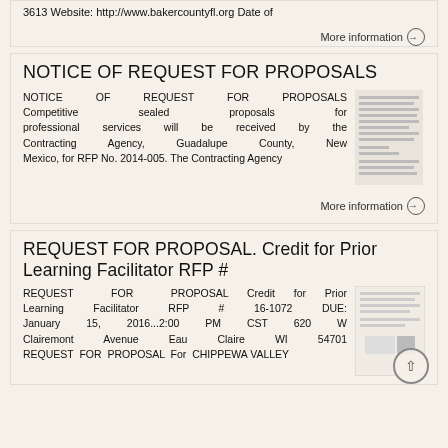3613 Website: http://www.bakercountyfl.org Date of
More information →
NOTICE OF REQUEST FOR PROPOSALS
NOTICE OF REQUEST FOR PROPOSALS Competitive sealed proposals for professional services will be received by the Contracting Agency, Guadalupe County, New Mexico, for RFP No. 2014-005. The Contracting Agency
More information →
REQUEST FOR PROPOSAL. Credit for Prior Learning Facilitator RFP #
REQUEST FOR PROPOSAL Credit for Prior Learning Facilitator RFP # 16-1072 DUE: January 15, 2016...2:00 PM CST 620 W Clairemont Avenue Eau Claire WI 54701 REQUEST FOR PROPOSAL For CHIPPEWA VALLEY